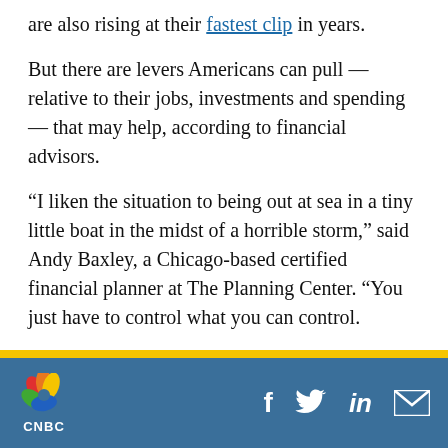are also rising at their fastest clip in years.
But there are levers Americans can pull — relative to their jobs, investments and spending — that may help, according to financial advisors.
“I liken the situation to being out at sea in a tiny little boat in the midst of a horrible storm,” said Andy Baxley, a Chicago-based certified financial planner at The Planning Center. “You just have to control what you can control.
More from Invest in You:
As inflation rises, where to find opportunities to
CNBC